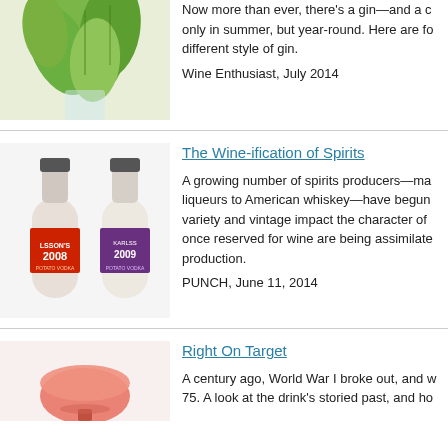[Figure (photo): Mint leaves in a glass, top portion of article image]
Now more than ever, there's a gin—and a cocktail—for not only in summer, but year-round. Here are four cocktails, a different style of gin.
Wine Enthusiast, July 2014
[Figure (photo): Two bottles of Karlsson's vodka, 2008 and 2009 vintage]
The Wine-ification of Spirits
A growing number of spirits producers—making everything from liqueurs to American whiskey—have begun to consider how variety and vintage impact the character of their spirits. Concepts once reserved for wine are being assimilated into spirits production.
PUNCH, June 11, 2014
[Figure (photo): Pink cocktail in a glass, partial image at bottom]
Right On Target
A century ago, World War I broke out, and with it the 75. A look at the drink's storied past, and how it...